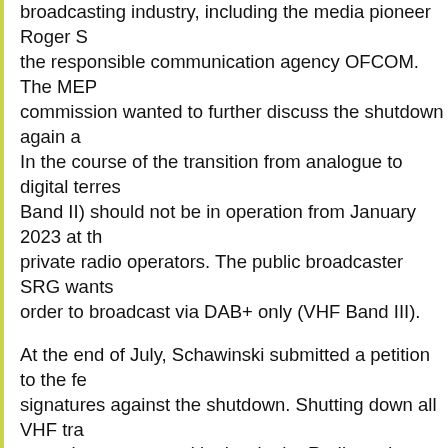broadcasting industry, including the media pioneer Roger S... the responsible communication agency OFCOM. The MEP commission wanted to further discuss the shutdown again. In the course of the transition from analogue to digital terres... Band II) should not be in operation from January 2023 at th... private radio operators. The public broadcaster SRG wants order to broadcast via DAB+ only (VHF Band III).
At the end of July, Schawinski submitted a petition to the fe... signatures against the shutdown. Shutting down all VHF tra... reception guaranteed by law in the Radio and Television Ac...
In recent years, the parliament had developed the legal ba... broadcasters are to receive financial support during a trans... the end of 2024. (SDA)
Norway is the only nation in the world to close down its nat... other country will copy Norway's - and possibly Switzerland... FM with DAB+. Nowadays, in most countries digital radio i...